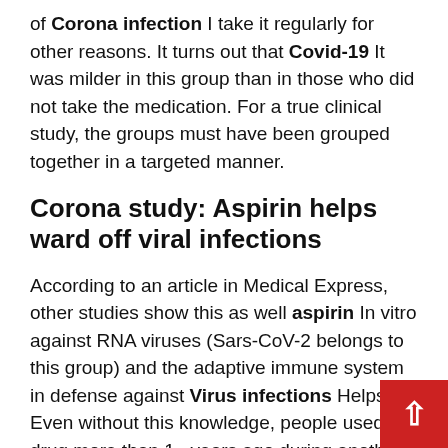of Corona infection I take it regularly for other reasons. It turns out that Covid-19 It was milder in this group than in those who did not take the medication. For a true clinical study, the groups must have been grouped together in a targeted manner.
Corona study: Aspirin helps ward off viral infections
According to an article in Medical Express, other studies show this as well aspirin In vitro against RNA viruses (Sars-CoV-2 belongs to this group) and the adaptive immune system in defense against Virus infections Helps. Even without this knowledge, people used the drug more than 10 years ago during another major pandemic: Spanish flu. According to Medical Express, reports also